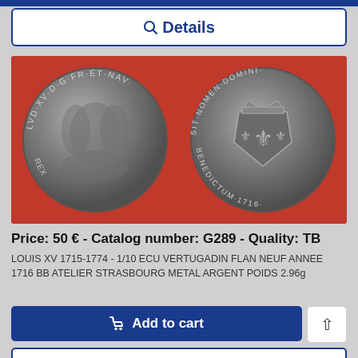Details
[Figure (photo): Two sides of a Louis XV 1/10 Ecu Vertugadin coin from 1716, photographed against a red background. Left coin shows the obverse with king's portrait and Latin inscription LVD XV D G FR ET NAV. Right coin shows the reverse with royal coat of arms topped by crown and Latin inscription SIT NOMEN DOMINI BENEDICTUM 1716.]
Price: 50 € - Catalog number: G289 - Quality: TB
LOUIS XV 1715-1774 - 1/10 ECU VERTUGADIN FLAN NEUF ANNEE 1716 BB ATELIER STRASBOURG METAL ARGENT POIDS 2.96g
Add to cart